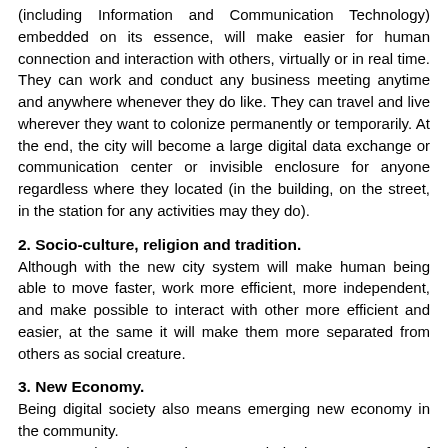(including Information and Communication Technology) embedded on its essence, will make easier for human connection and interaction with others, virtually or in real time. They can work and conduct any business meeting anytime and anywhere whenever they do like. They can travel and live wherever they want to colonize permanently or temporarily. At the end, the city will become a large digital data exchange or communication center or invisible enclosure for anyone regardless where they located (in the building, on the street, in the station for any activities may they do).
2. Socio-culture, religion and tradition.
Although with the new city system will make human being able to move faster, work more efficient, more independent, and make possible to interact with other more efficient and easier, at the same it will make them more separated from others as social creature.
3. New Economy.
Being digital society also means emerging new economy in the community. As economics play very important role in the every aspect of human being life, therefore with the transformation from being real to being digital, like or dislike people will transform